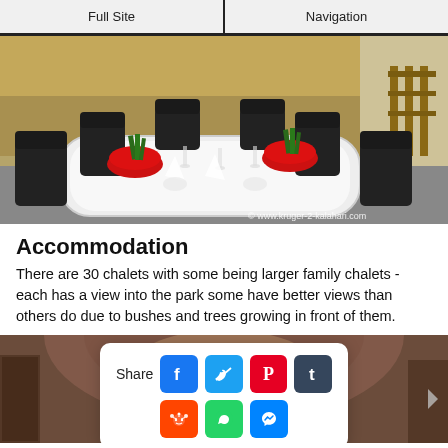Full Site | Navigation
[Figure (photo): Outdoor dining table set with white tablecloth, black wicker chairs, red bowl centerpieces with plants, in a dry landscape setting. Watermark: © www.kruger-2-kalahari.com]
Accommodation
There are 30 chalets with some being larger family chalets - each has a view into the park some have better views than others do due to bushes and trees growing in front of them.
[Figure (photo): Interior room photo with arched ceiling, warm brown tones. Overlaid with a social share popup showing Share buttons: Facebook, Twitter, Pinterest, Tumblr (top row), Reddit, WhatsApp, Messenger (bottom row).]